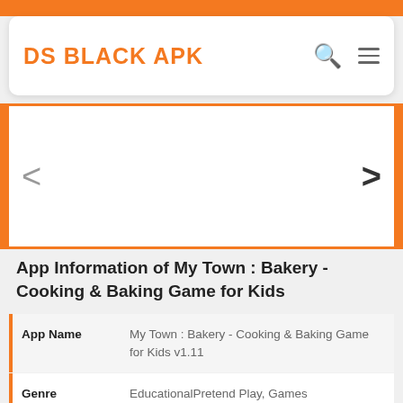DS BLACK APK
App Information of My Town : Bakery - Cooking & Baking Game for Kids
| Field | Value |
| --- | --- |
| App Name | My Town : Bakery - Cooking & Baking Game for Kids v1.11 |
| Genre | EducationalPretend Play, Games |
| Size | 58.1 MB |